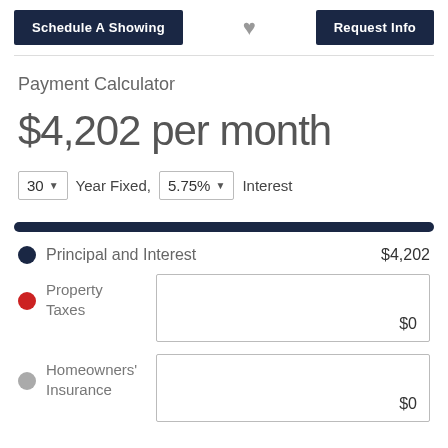Schedule A Showing
Request Info
Payment Calculator
$4,202 per month
30 Year Fixed, 5.75% Interest
| Item | Amount |
| --- | --- |
| Principal and Interest | $4,202 |
| Property Taxes | $0 |
| Homeowners' Insurance | $0 |